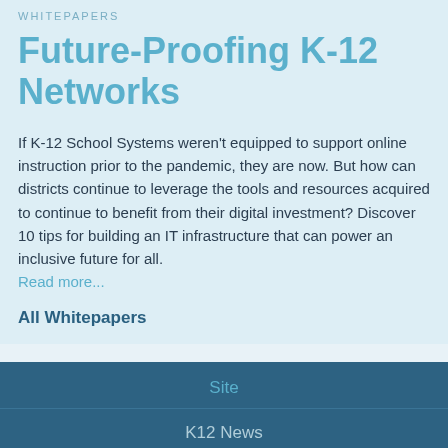WHITEPAPERS
Future-Proofing K-12 Networks
If K-12 School Systems weren't equipped to support online instruction prior to the pandemic, they are now. But how can districts continue to leverage the tools and resources acquired to continue to benefit from their digital investment? Discover 10 tips for building an IT infrastructure that can power an inclusive future for all.
Read more...
All Whitepapers
Site
K12 News
Opinion